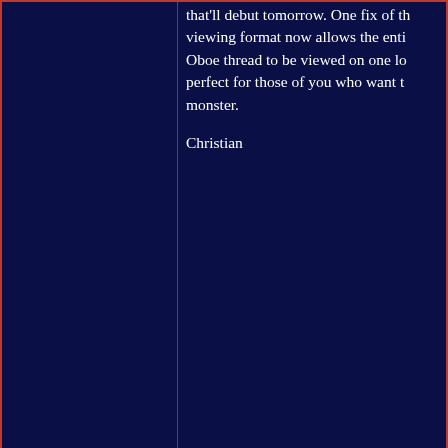that'll debut tomorrow. One fix of the viewing format now allows the entire Oboe thread to be viewed on one lo... perfect for those of you who want t... monster.
Christian
• Threaded display
tromboja (adsl-211-231-33.asm.bellsouth.net)
In Response to:
↑ Christian Clemmensen
Solution: MarxistOboe.com *NM*   Monday, July
• Threaded displ